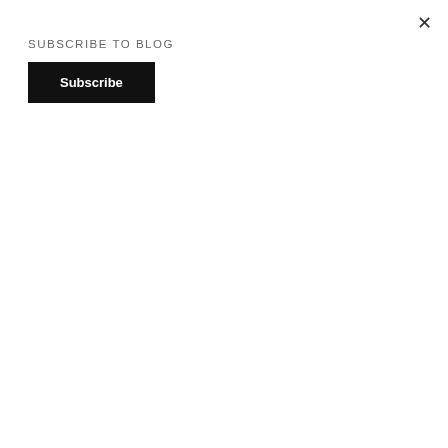SUBSCRIBE TO BLOG
Subscribe
Recent Comments
Ravi on How to use Knowledge Actions in Lightning Flow
https://kemtrithamvungkin.webflow.io/ on Kitchener Canada Developer Group Event: Orchestrate ALL of your Salesforce Automation with the Trigger Action Framework by Mitchell Spano
templar knights cross on Kitchener Canada Developer Group Event: Orchestrate ALL of your Salesforce Automation with the Trigger Action Framework by